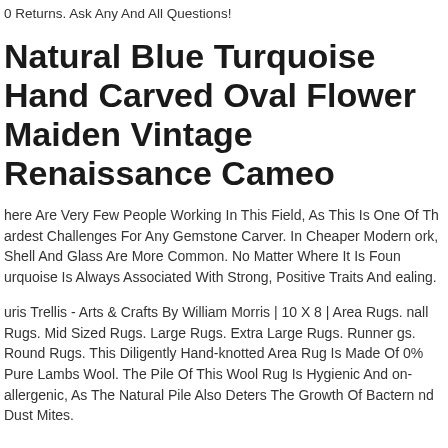0 Returns. Ask Any And All Questions!
Natural Blue Turquoise Hand Carved Oval Flower Maiden Vintage Renaissance Cameo
There Are Very Few People Working In This Field, As This Is One Of The Hardest Challenges For Any Gemstone Carver. In Cheaper Modern Work, Shell And Glass Are More Common. No Matter Where It Is Found, Turquoise Is Always Associated With Strong, Positive Traits And Healing.
Lauris Trellis - Arts & Crafts By William Morris | 10 X 8 | Area Rugs. Small Rugs. Mid Sized Rugs. Large Rugs. Extra Large Rugs. Runner Rugs. Round Rugs. This Diligently Hand-knotted Area Rug Is Made Of 100% Pure Lambs Wool. The Pile Of This Wool Rug Is Hygienic And Non-allergenic, As The Natural Pile Also Deters The Growth Of Bacteria And Dust Mites.